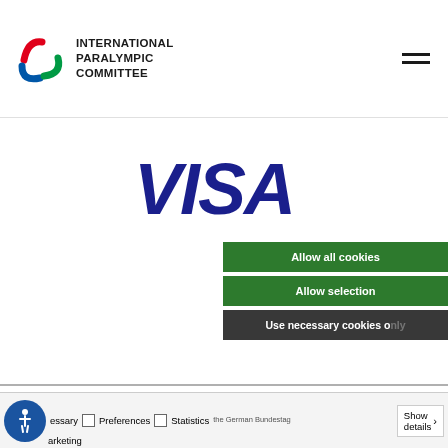[Figure (logo): International Paralympic Committee logo with Agitos symbol (three swooshes in red, blue, green) and text INTERNATIONAL PARALYMPIC COMMITTEE]
[Figure (logo): VISA logo in dark blue bold italic text]
This website uses cookies
We use cookies to personalise content and ads, to provide social media features and to analyse our traffic. We also share information about your use of our site with our social media, advertising and analytics partners who may combine it with other information that you've provided to them or that they've collected from your use of their services.
Allow all cookies
Allow selection
Use necessary cookies only
Necessary   Preferences   Statistics   Marketing   Show details